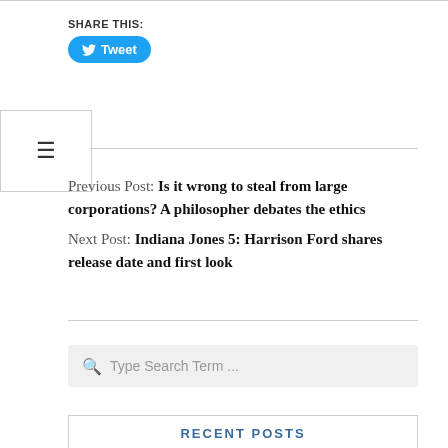SHARE THIS:
Tweet
Previous Post: Is it wrong to steal from large corporations? A philosopher debates the ethics
Next Post: Indiana Jones 5: Harrison Ford shares release date and first look
Type Search Term ...
RECENT POSTS